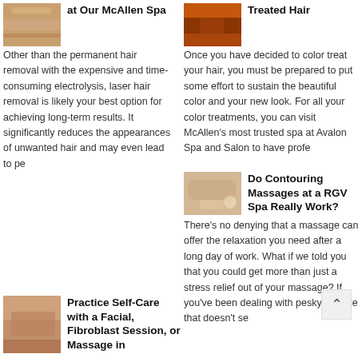at Our McAllen Spa
Other than the permanent hair removal with the expensive and time-consuming electrolysis, laser hair removal is likely your best option for achieving long-term results. It significantly reduces the appearances of unwanted hair and may even lead to pe
Treated Hair
Once you have decided to color treat your hair, you must be prepared to put some effort to sustain the beautiful color and your new look. For all your color treatments, you can visit McAllen’s most trusted spa at Avalon Spa and Salon to have profe
Do Contouring Massages at a RGV Spa Really Work?
There’s no denying that a massage can offer the relaxation you need after a long day of work. What if we told you that you could get more than just a stress relief out of your massage? If you’ve been dealing with pesky cellulite that doesn’t se
Practice Self-Care with a Facial, Fibroblast Session, or Massage in